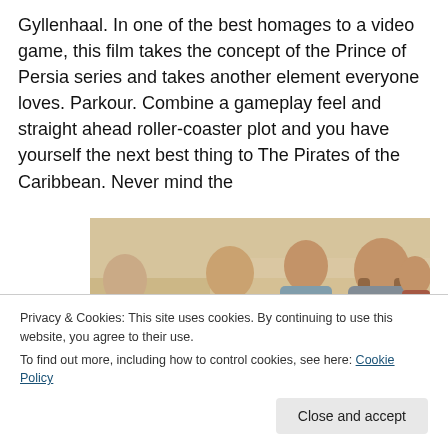Gyllenhaal. In one of the best homages to a video game, this film takes the concept of the Prince of Persia series and takes another element everyone loves. Parkour. Combine a gameplay feel and straight ahead roller-coaster plot and you have yourself the next best thing to The Pirates of the Caribbean. Never mind the
[Figure (photo): A movie still showing three men in ancient/medieval Middle Eastern costumes. A bald man on the left confronts two men with longer hair, one of whom has his fist extended. A fourth figure is partially visible on the right edge.]
Privacy & Cookies: This site uses cookies. By continuing to use this website, you agree to their use.
To find out more, including how to control cookies, see here: Cookie Policy